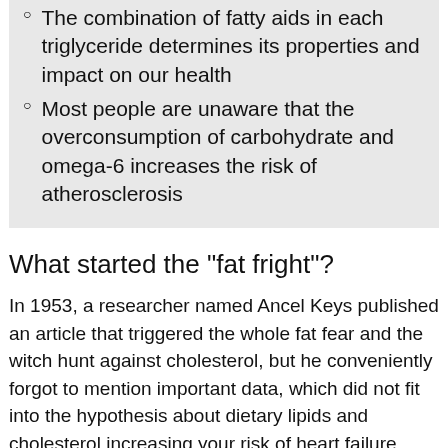The combination of fatty aids in each triglyceride determines its properties and impact on our health
Most people are unaware that the overconsumption of carbohydrate and omega-6 increases the risk of atherosclerosis
What started the "fat fright"?
In 1953, a researcher named Ancel Keys published an article that triggered the whole fat fear and the witch hunt against cholesterol, but he conveniently forgot to mention important data, which did not fit into the hypothesis about dietary lipids and cholesterol increasing your risk of heart failure. New dietary guidelines were supported by the American presidential candidate, George McGovern in 1977, and the fat fright was here to stay. However, this sudden favoring of carbohydrates in the diet and the fear of fat has been a catastrophe for public health. In 1972, the British professor, John Yudkin, revealed that too much dietary carbohydrate is damaging for your health, but he was ignored by the health authorities and the food industry, simply because his viewpoint was a threat to their business interests. Today, more and more scientists are inclined